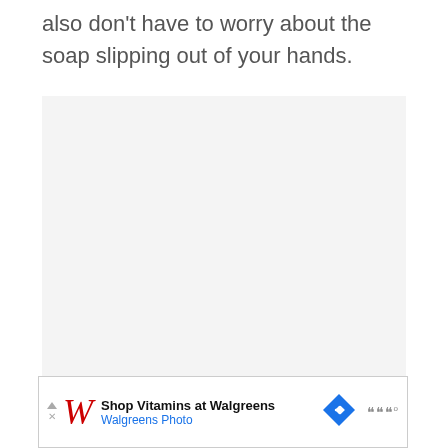also don't have to worry about the soap slipping out of your hands.
[Figure (photo): A light gray placeholder image block occupying the central area of the page.]
[Figure (other): Advertisement banner for Walgreens: 'Shop Vitamins at Walgreens' with Walgreens Photo logo, W script logo in red, blue navigation arrow icon, and audio wave icon.]